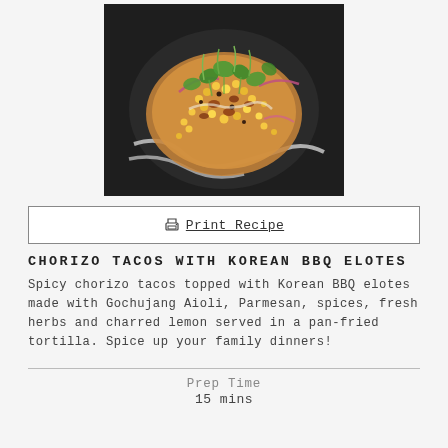[Figure (photo): Overhead shot of chorizo tacos topped with Korean BBQ elotes, garnished with cilantro, red onion, corn, and a drizzle of aioli on a dark plate.]
🖨 Print Recipe
CHORIZO TACOS WITH KOREAN BBQ ELOTES
Spicy chorizo tacos topped with Korean BBQ elotes made with Gochujang Aioli, Parmesan, spices, fresh herbs and charred lemon served in a pan-fried tortilla. Spice up your family dinners!
Prep Time
15 mins